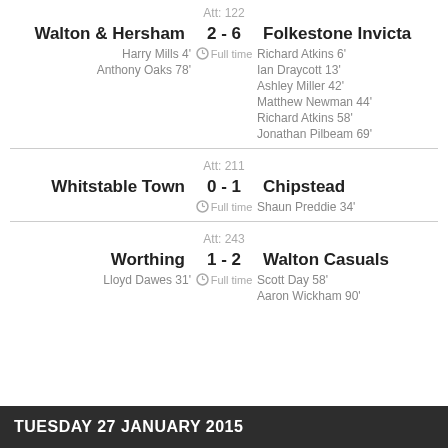Att: 122
Walton & Hersham 2 - 6 Folkestone Invicta
Harry Mills 4' Full time Richard Atkins 6'
Anthony Oaks 78'
Ian Draycott 13'
Ashley Miller 42'
Matthew Newman 44'
Richard Atkins 58'
Jonathan Pilbeam 69'
Att: 211
Whitstable Town 0 - 1 Chipstead
Full time Shaun Preddie 34'
Att: 243
Worthing 1 - 2 Walton Casuals
Lloyd Dawes 31' Full time Scott Day 58'
Aaron Wickham 90'
TUESDAY 27 JANUARY 2015